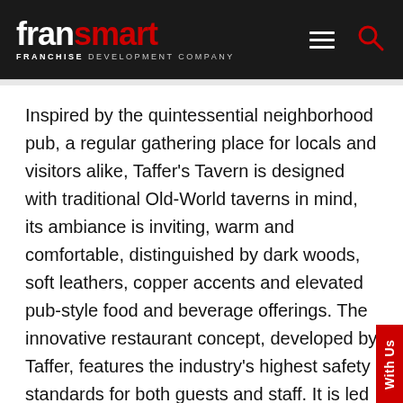FranSmart Franchise Development Company
Inspired by the quintessential neighborhood pub, a regular gathering place for locals and visitors alike, Taffer's Tavern is designed with traditional Old-World taverns in mind, its ambiance is inviting, warm and comfortable, distinguished by dark woods, soft leathers, copper accents and elevated pub-style food and beverage offerings. The innovative restaurant concept, developed by Taffer, features the industry's highest safety standards for both guests and staff. It is led by the kitchen and bar of the future and features the latest advancements in food prep/service technology.